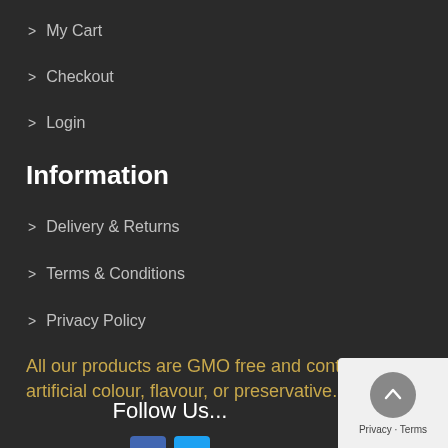> My Cart
> Checkout
> Login
Information
> Delivery & Returns
> Terms & Conditions
> Privacy Policy
All our products are GMO free and contain no artificial colour, flavour, or preservative.
Follow Us...